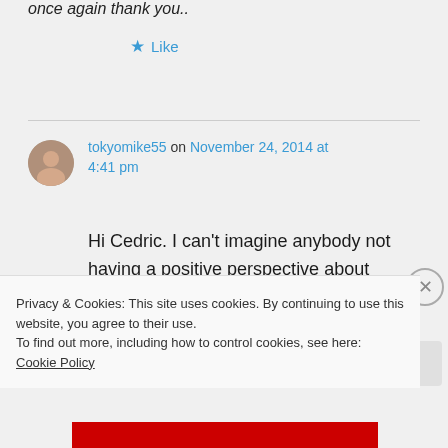once again thank you..
★ Like
tokyomike55 on November 24, 2014 at 4:41 pm
Hi Cedric. I can't imagine anybody not having a positive perspective about staying in the El Nido community 🙂
Privacy & Cookies: This site uses cookies. By continuing to use this website, you agree to their use.
To find out more, including how to control cookies, see here: Cookie Policy
Close and accept